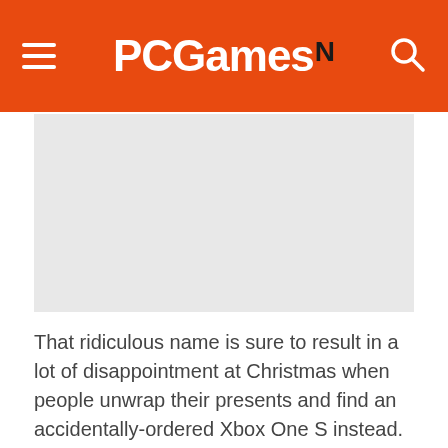PCGamesN
[Figure (photo): Gray placeholder image area for article illustration]
That ridiculous name is sure to result in a lot of disappointment at Christmas when people unwrap their presents and find an accidentally-ordered Xbox One S instead. Such a catastrophe could be easily avoided by uttering the much more parsable, “I would like to buy a PC,